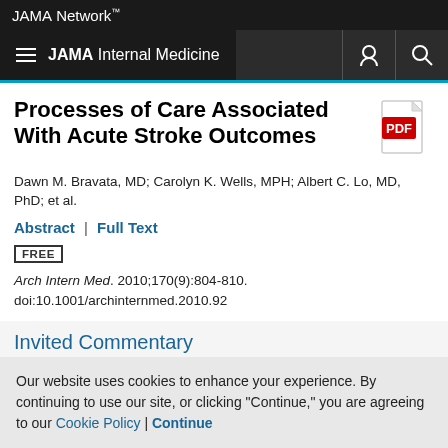JAMA Network
JAMA Internal Medicine
Processes of Care Associated With Acute Stroke Outcomes
Dawn M. Bravata, MD; Carolyn K. Wells, MPH; Albert C. Lo, MD, PhD; et al.
Abstract | Full Text
FREE
Arch Intern Med. 2010;170(9):804-810. doi:10.1001/archinternmed.2010.92
Invited Commentary
Our website uses cookies to enhance your experience. By continuing to use our site, or clicking "Continue," you are agreeing to our Cookie Policy | Continue